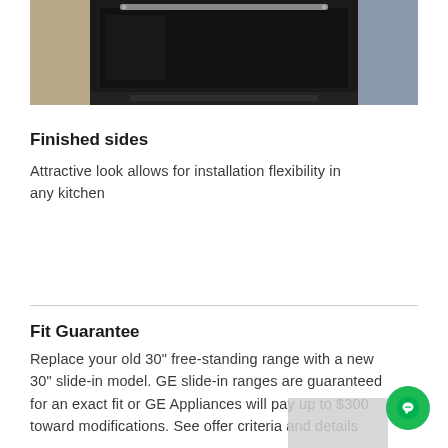[Figure (photo): Close-up photo of a built-in oven with dark glass door and stainless steel handle, installed in cabinetry]
Finished sides
Attractive look allows for installation flexibility in any kitchen
Fit Guarantee
Replace your old 30" free-standing range with a new 30" slide-in model. GE slide-in ranges are guaranteed for an exact fit or GE Appliances will pay up to $300 toward modifications. See offer criteria and details